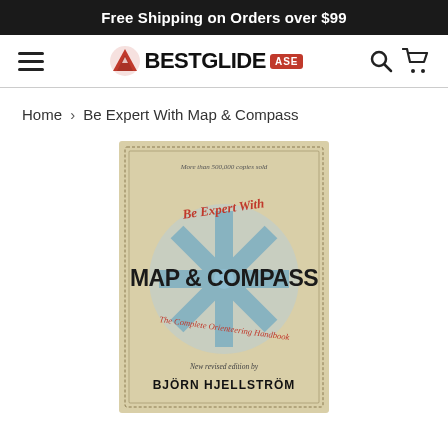Free Shipping on Orders over $99
[Figure (logo): BestGlide ASE logo with mountain/shield icon, hamburger menu on left, search and cart icons on right]
Home › Be Expert With Map & Compass
[Figure (photo): Book cover of 'Be Expert With Map & Compass: The Complete Orienteering Handbook' - New revised edition by Björn Hjellström. Features a compass rose graphic on a tan/cream background. Text reads 'More than 500,000 copies sold'.]